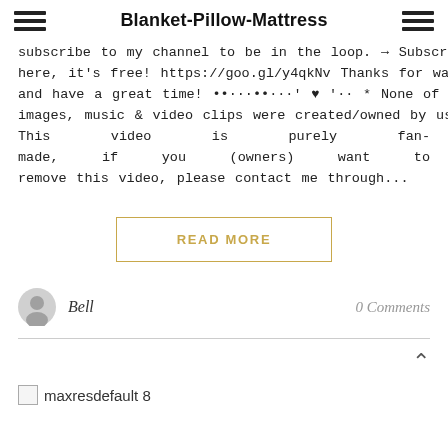Blanket-Pillow-Mattress
subscribe to my channel to be in the loop. → Subscribe here, it's free! https://goo.gl/y4qkNv Thanks for watching and have a great time! ••···••···' ♥ '·· * None of these images, music & video clips were created/owned by us. * This video is purely fan-made, if you (owners) want to remove this video, please contact me through...
READ MORE
Bell
0 Comments
[Figure (other): maxresdefault 8 image placeholder]
maxresdefault 8